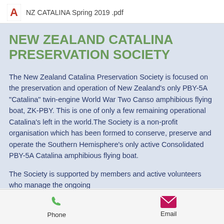NZ CATALINA Spring 2019 .pdf
NEW ZEALAND CATALINA PRESERVATION SOCIETY
The New Zealand Catalina Preservation Society is focused on the preservation and operation of New Zealand's only PBY-5A "Catalina" twin-engine World War Two Canso amphibious flying boat, ZK-PBY. This is one of only a few remaining operational Catalina's left in the world.The Society is a non-profit organisation which has been formed to conserve, preserve and operate the Southern Hemisphere's only active Consolidated PBY-5A Catalina amphibious flying boat.
The Society is supported by members and active volunteers who manage the ongoing
Phone    Email